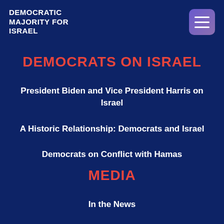DEMOCRATIC MAJORITY FOR ISRAEL
DEMOCRATS ON ISRAEL
President Biden and Vice President Harris on Israel
A Historic Relationship: Democrats and Israel
Democrats on Conflict with Hamas
MEDIA
In the News
Press Releases